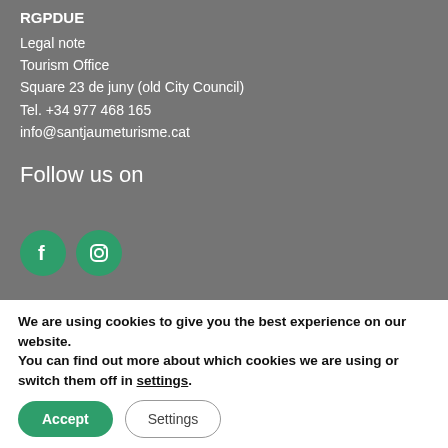RGPDUE
Legal note
Tourism Office
Square 23 de juny (old City Council)
Tel. +34 977 468 165
info@santjaumeturisme.cat
Follow us on
[Figure (illustration): Two circular green social media icons: Facebook (F logo) and Instagram (camera logo)]
We are using cookies to give you the best experience on our website.
You can find out more about which cookies we are using or switch them off in settings.
Accept
Settings